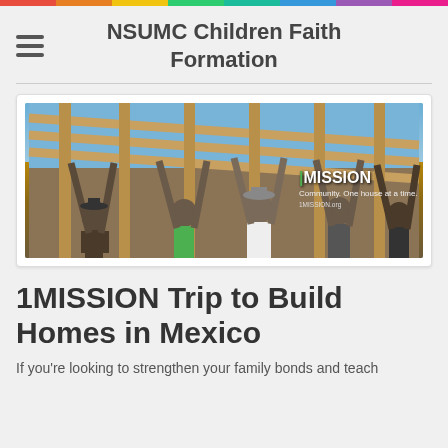NSUMC Children Faith Formation
[Figure (photo): People raising wooden frame beams for a house construction with 1MISSION logo overlay reading 'Community. One house at a time.']
1MISSION Trip to Build Homes in Mexico
If you're looking to strengthen your family bonds and teach